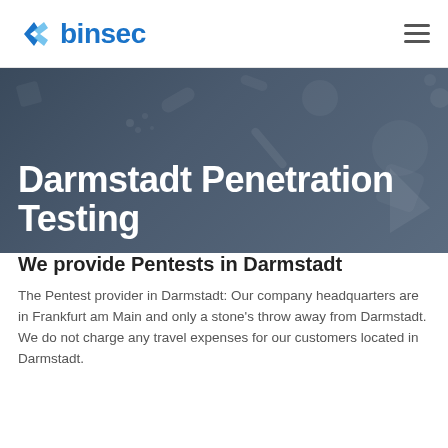binsec
Darmstadt Penetration Testing
We provide Pentests in Darmstadt
The Pentest provider in Darmstadt: Our company headquarters are in Frankfurt am Main and only a stone's throw away from Darmstadt. We do not charge any travel expenses for our customers located in Darmstadt.